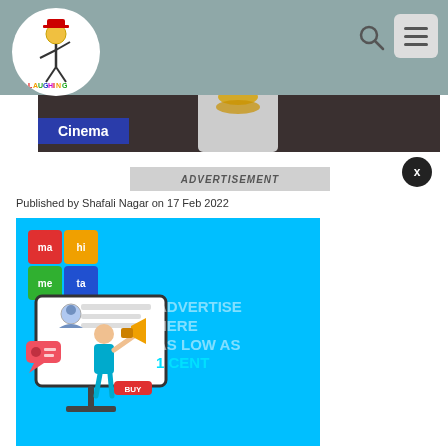Laughing Colours — navigation header with logo, search, and menu
[Figure (photo): Hero image of a person wearing gold chains and a white jacket against dark background]
Cinema
ADVERTISEMENT
Published by Shafali Nagar on 17 Feb 2022
[Figure (infographic): Advertisement banner with cyan background showing 'ADVERTISE HERE AS LOW AS 1 CENT' text and a person with megaphone illustration, Mahimeta logo in corner]